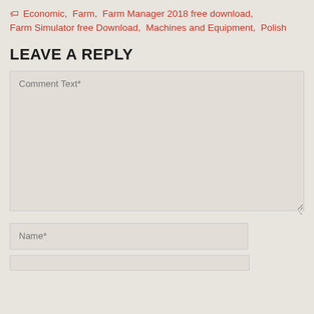Economic, Farm, Farm Manager 2018 free download, Farm Simulator free Download, Machines and Equipment, Polish
LEAVE A REPLY